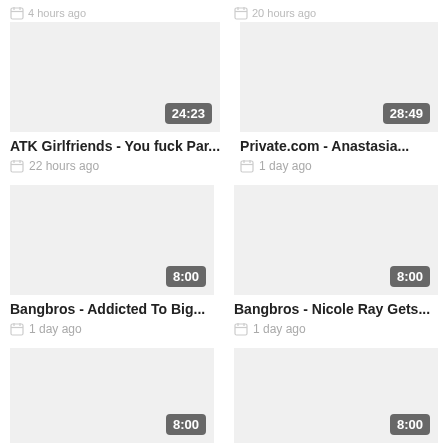ATK Girlfriends - You fuck Par... | 22 hours ago
Private.com - Anastasia... | 1 day ago
Bangbros - Addicted To Big... | 1 day ago
Bangbros - Nicole Ray Gets... | 1 day ago
8:00 | 1 day ago
8:00 | 1 day ago